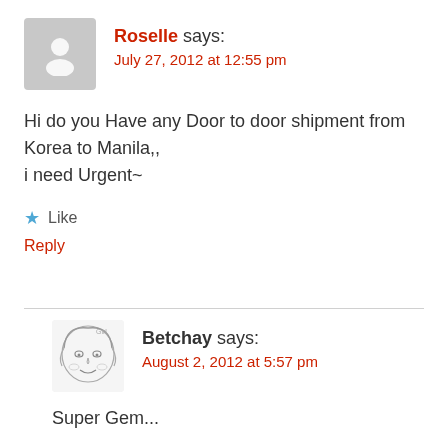Roselle says:
July 27, 2012 at 12:55 pm
Hi do you Have any Door to door shipment from Korea to Manila,,
i need Urgent~
Like
Reply
Betchay says:
August 2, 2012 at 5:57 pm
Super Gem...